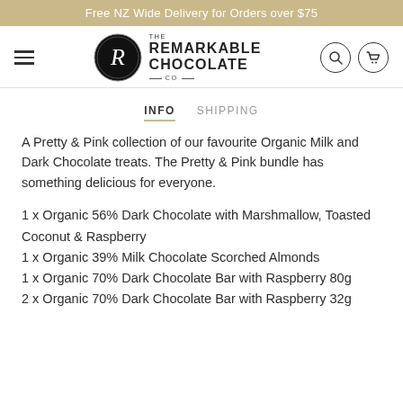Free NZ Wide Delivery for Orders over $75
[Figure (logo): The Remarkable Chocolate Co. logo with hamburger menu, circular R emblem, brand name, search icon and cart icon]
INFO   SHIPPING
A Pretty & Pink collection of our favourite Organic Milk and Dark Chocolate treats. The Pretty & Pink bundle has something delicious for everyone.
1 x Organic 56% Dark Chocolate with Marshmallow, Toasted Coconut & Raspberry
1 x Organic 39% Milk Chocolate Scorched Almonds
1 x Organic 70% Dark Chocolate Bar with Raspberry 80g
2 x Organic 70% Dark Chocolate Bar with Raspberry 32g